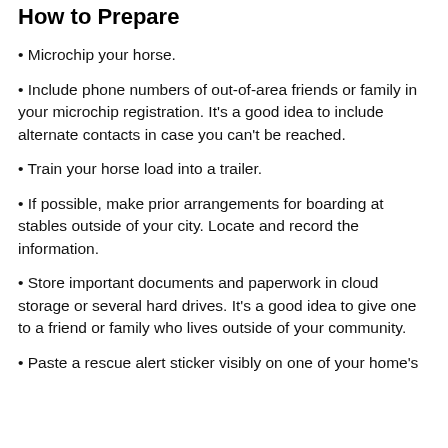How to Prepare
Microchip your horse.
Include phone numbers of out-of-area friends or family in your microchip registration. It's a good idea to include alternate contacts in case you can't be reached.
Train your horse load into a trailer.
If possible, make prior arrangements for boarding at stables outside of your city. Locate and record the information.
Store important documents and paperwork in cloud storage or several hard drives. It's a good idea to give one to a friend or family who lives outside of your community.
Paste a rescue alert sticker visibly on one of your home's